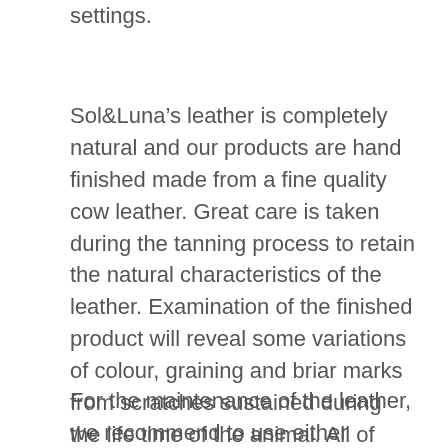settings.
Sol&Luna's leather is completely natural and our products are hand finished made from a fine quality cow leather. Great care is taken during the tanning process to retain the natural characteristics of the leather. Examination of the finished product will reveal some variations of colour, graining and briar marks from scratches sustained during the life time of the animal. All of which guarantee that each piece is unique.
For the maintenance of the leather, we recommend to use either vaseline or special wax for the leather or hand creme such as